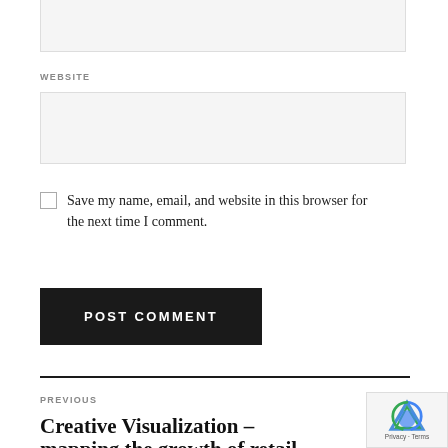WEBSITE
Save my name, email, and website in this browser for the next time I comment.
POST COMMENT
PREVIOUS
Creative Visualization – mapping the growth of retail